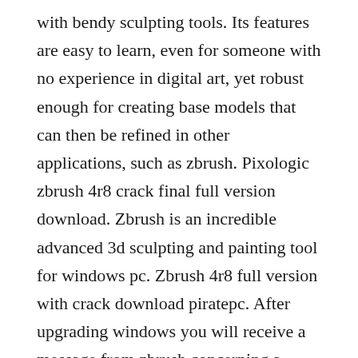with bendy sculpting tools. Its features are easy to learn, even for someone with no experience in digital art, yet robust enough for creating base models that can then be refined in other applications, such as zbrush. Pixologic zbrush 4r8 crack final full version download. Zbrush is an incredible advanced 3d sculpting and painting tool for windows pc. Zbrush 4r8 full version with crack download piratepc. After upgrading windows you will receive a message from zbrush concerning a corrupt licenses. Pixologic zbrush 2020 free download repack